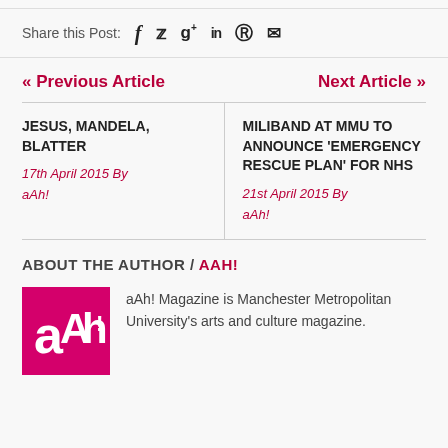Share this Post:  f  t  g+  in  p  mail
« Previous Article    Next Article »
JESUS, MANDELA, BLATTER
17th April 2015 By aAh!
MILIBAND AT MMU TO ANNOUNCE 'EMERGENCY RESCUE PLAN' FOR NHS
21st April 2015 By aAh!
ABOUT THE AUTHOR /  AAH!
[Figure (logo): aAh! Magazine logo — magenta/pink square with white stylized text 'aAh!']
aAh! Magazine is Manchester Metropolitan University's arts and culture magazine.